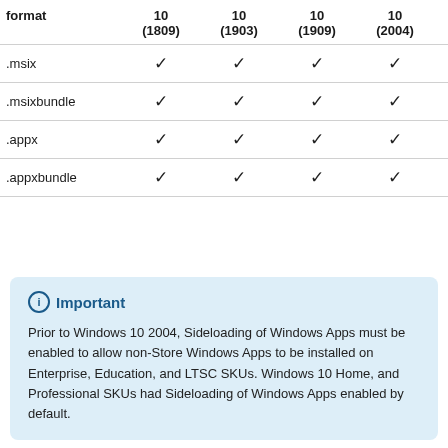| format | 10 (1809) | 10 (1903) | 10 (1909) | 10 (2004) | 10 (2) |
| --- | --- | --- | --- | --- | --- |
| .msix | ✓ | ✓ | ✓ | ✓ | ✓ |
| .msixbundle | ✓ | ✓ | ✓ | ✓ | ✓ |
| .appx | ✓ | ✓ | ✓ | ✓ | ✓ |
| .appxbundle | ✓ | ✓ | ✓ | ✓ | ✓ |
Important
Prior to Windows 10 2004, Sideloading of Windows Apps must be enabled to allow non-Store Windows Apps to be installed on Enterprise, Education, and LTSC SKUs. Windows 10 Home, and Professional SKUs had Sideloading of Windows Apps enabled by default.